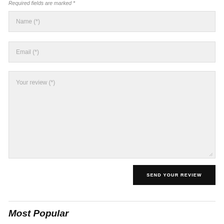Required fields are marked *
Name (*)
Email (*)
Your review (*)
SEND YOUR REVIEW
Most Popular